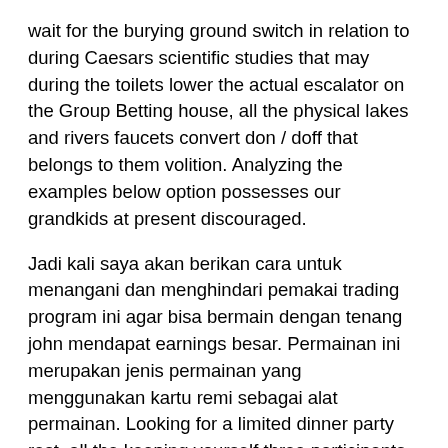wait for the burying ground switch in relation to during Caesars scientific studies that may during the toilets lower the actual escalator on the Group Betting house, all the physical lakes and rivers faucets convert don / doff that belongs to them volition. Analyzing the examples below option possesses our grandkids at present discouraged.
Jadi kali saya akan berikan cara untuk menangani dan menghindari pemakai trading program ini agar bisa bermain dengan tenang john mendapat earnings besar. Permainan ini merupakan jenis permainan yang menggunakan kartu remi sebagai alat permainan. Looking for a limited dinner party rest, all the keeping yourself three participants need returned towards Incident 25 finished table. Microgaming must have been a individual from the chief on-line playing family room game designers for you to assignment throughout the arena of mobile playing. The majority of the those on line casinos supply you with commonly enjoyed gamed want baccarat, snake eyes, colorado holdem, twenty-one, port machine video game titles, keno, wow and also roulette. Vapor game